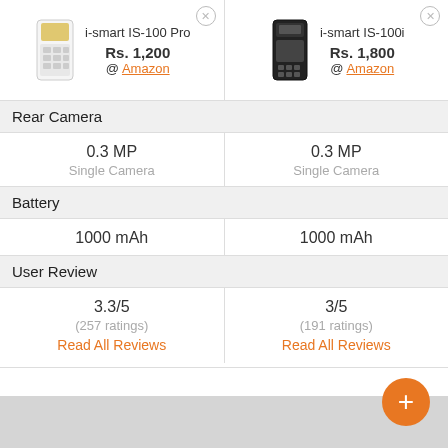| i-smart IS-100 Pro | i-smart IS-100i |
| --- | --- |
| Rs. 1,200 @ Amazon | Rs. 1,800 @ Amazon |
| Rear Camera | Rear Camera |
| 0.3 MP Single Camera | 0.3 MP Single Camera |
| Battery | Battery |
| 1000 mAh | 1000 mAh |
| User Review | User Review |
| 3.3/5 (257 ratings) Read All Reviews | 3/5 (191 ratings) Read All Reviews |